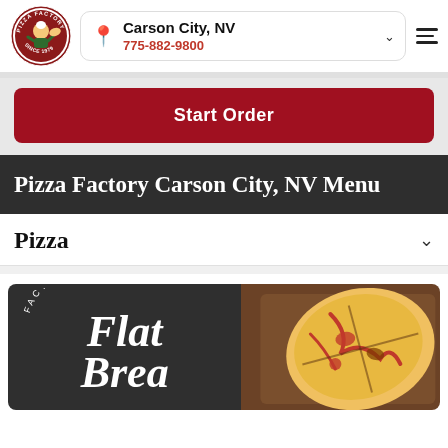[Figure (logo): Pizza Factory circular logo with chef character]
Carson City, NV
775-882-9800
Start Order
Pizza Factory Carson City, NV Menu
Pizza
[Figure (photo): Factory Flat Breads promotional image with pizza flatbread photo]